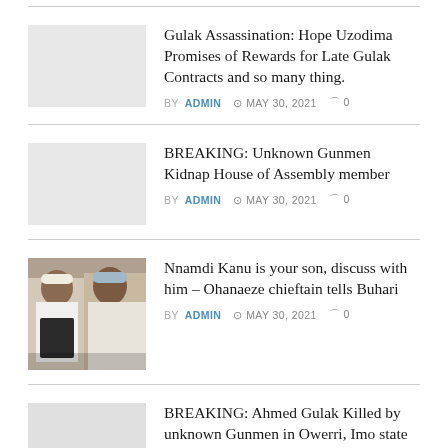Gulak Assassination: Hope Uzodima Promises of Rewards for Late Gulak Contracts and so many thing.
BY ADMIN  MAY 30, 2021  0
BREAKING: Unknown Gunmen Kidnap House of Assembly member
BY ADMIN  MAY 30, 2021  0
Nnamdi Kanu is your son, discuss with him – Ohanaeze chieftain tells Buhari
BY ADMIN  MAY 30, 2021  0
BREAKING: Ahmed Gulak Killed by unknown Gunmen in Owerri, Imo state